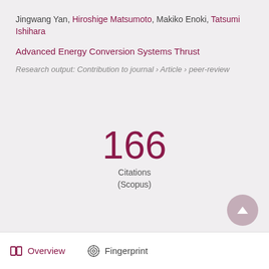Jingwang Yan, Hiroshige Matsumoto, Makiko Enoki, Tatsumi Ishihara
Advanced Energy Conversion Systems Thrust
Research output: Contribution to journal › Article › peer-review
166 Citations (Scopus)
Overview   Fingerprint